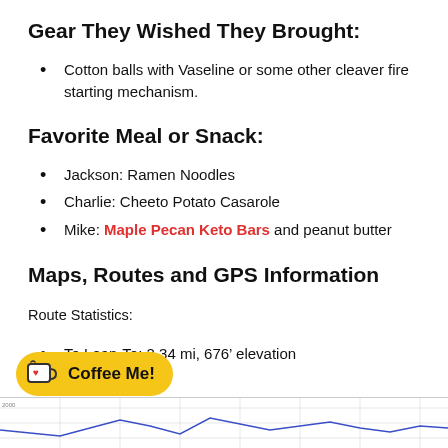Gear They Wished They Brought:
Cotton balls with Vaseline or some other cleaver fire starting mechanism.
Favorite Meal or Snack:
Jackson: Ramen Noodles
Charlie: Cheeto Potato Casarole
Mike: Maple Pecan Keto Bars and peanut butter
Maps, Routes and GPS Information
Route Statistics:
To Lean-To: 2.34 mi, 676’ elevation
[Figure (continuous-plot): Elevation chart/route statistics graph shown at bottom of page, partially visible, with a blue line chart and gridlines.]